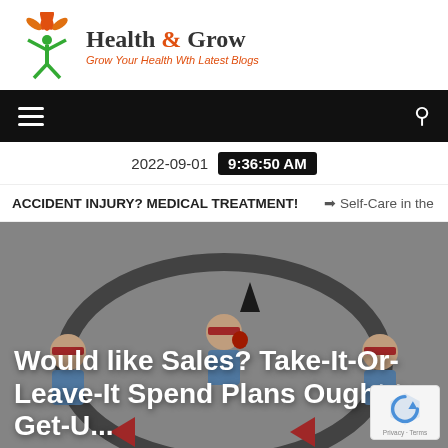[Figure (logo): Health & Grow website logo with green figure and orange leaf icon, tagline: Grow Your Health Wth Latest Blogs]
Navigation bar with hamburger menu and search icon
2022-09-01  9:36:50 AM
ACCIDENT INJURY? MEDICAL TREATMENT!  ➔  Self-Care in the
Would like Sales? Take-It-Or-Leave-It Spend Plans Ought to Get-U...